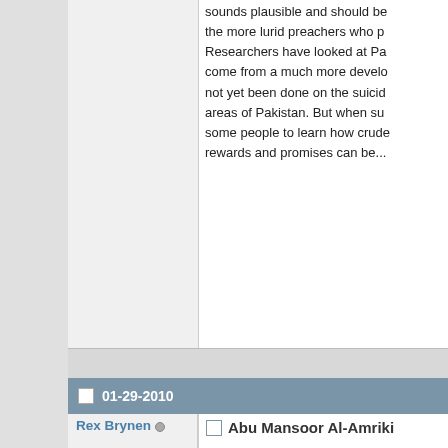sounds plausible and should be… the more lurid preachers who p… Researchers have looked at Pa… come from a much more develo… not yet been done on the suicid… areas of Pakistan. But when su… some people to learn how crude… rewards and promises can be…
01-29-2010
Rex Brynen  Council Member  Join Date: Aug 2007  Location: Montreal  Posts: 1,602
Abu Mansoor Al-Amriki
While the Somali context isn't h… nonetheless has an interesting,… radicalization of Omar Hamman…
NEW YORK TIMES MAGAZINE
The Jihadist Next Door
By ANDREA ELLIOTT
Published: January 27, 2010
ON A WARM, cloudy da… of Daphne, Ala., stirred t… came pounding down M…